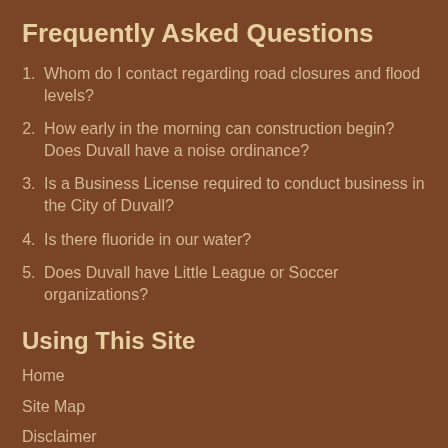Frequently Asked Questions
Whom do I contact regarding road closures and flood levels?
How early in the morning can construction begin? Does Duvall have a noise ordinance?
Is a Business License required to conduct business in the City of Duvall?
Is there fluoride in our water?
Does Duvall have Little League or Soccer organizations?
Using This Site
Home
Site Map
Disclaimer
Copyright Notices
Government Websites by CivicPlus®